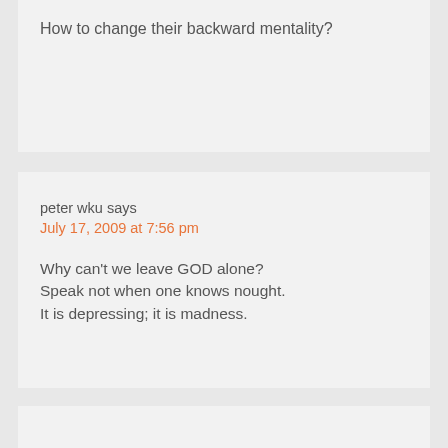How to change their backward mentality?
peter wku says
July 17, 2009 at 7:56 pm
Why can't we leave GOD alone?
Speak not when one knows nought.
It is depressing; it is madness.